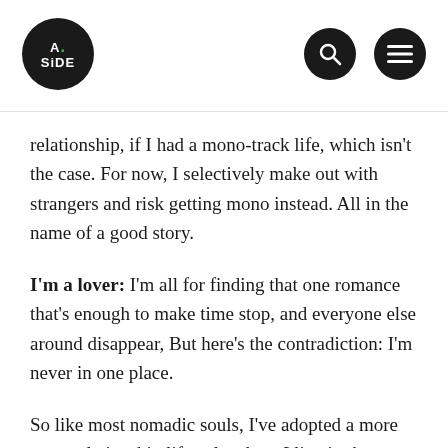A.SIDE
relationship, if I had a mono-track life, which isn't the case. For now, I selectively make out with strangers and risk getting mono instead. All in the name of a good story.
I'm a lover: I'm all for finding that one romance that's enough to make time stop, and everyone else around disappear, But here's the contradiction: I'm never in one place.
So like most nomadic souls, I've adopted a more open relationship lifestyle where I live in the moment, detached from any thought of commitment after I leave